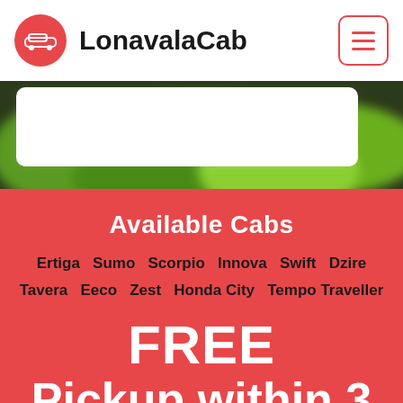LonavalaCab
[Figure (photo): Green blurred nature/foliage background hero image with white card overlay]
Available Cabs
Ertiga   Sumo   Scorpio   Innova   Swift   Dzire   Tavera   Eeco   Zest   Honda City   Tempo Traveller
FREE
Pickup within 3